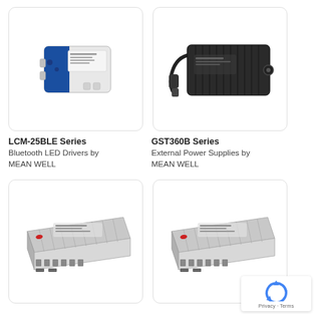[Figure (photo): LCM-25BLE Series product photo: small rectangular LED driver with blue and white casing]
[Figure (photo): GST360B Series product photo: black external power supply with cable]
LCM-25BLE Series
Bluetooth LED Drivers by MEAN WELL
GST360B Series
External Power Supplies by MEAN WELL
[Figure (photo): Bottom-left product photo: silver aluminum power supply unit with fins]
[Figure (photo): Bottom-right product photo: silver aluminum power supply unit with fins]
[Figure (logo): reCAPTCHA badge with Privacy and Terms text]